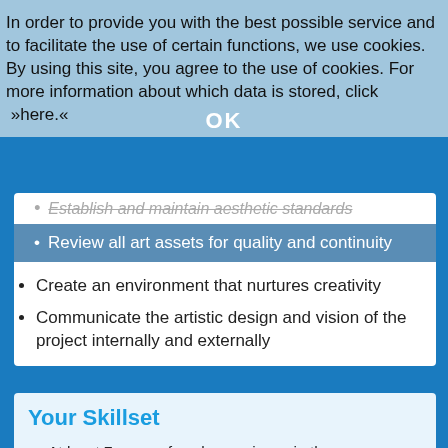In order to provide you with the best possible service and to facilitate the use of certain functions, we use cookies. By using this site, you agree to the use of cookies. For more information about which data is stored, click »here.«
Establish and maintain aesthetic standards
Review all art assets for quality and continuity
Create an environment that nurtures creativity
Communicate the artistic design and vision of the project internally and externally
Your Skillset
At least 7 years of work experience in the games industry - ideally at least 3 years as Lead Artist, Art Director or in a comparable role
Experience in a Lead position and proven seniority to guide and coach colleagues from an